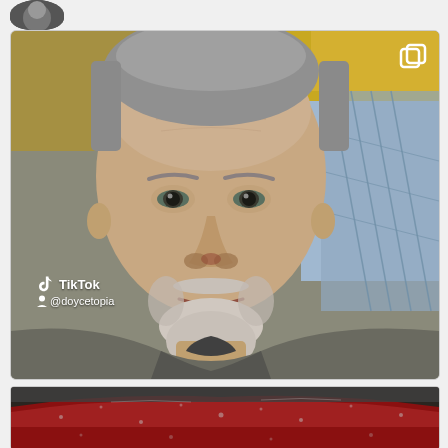[Figure (photo): Social media profile avatar circle at top left, partially cropped]
[Figure (screenshot): TikTok screenshot selfie of a middle-aged white man with gray beard and short gray hair, wearing a gray hoodie, looking at camera with a concerned/emotional expression. Background shows yellow ceiling structure and chain-link fence with blue sky. TikTok watermark and @doycetopia username visible in lower left. Multi-image icon in upper right corner.]
[Figure (photo): Bottom partial image showing a red vehicle roof/hood with rain or water droplets, dark rainy background]